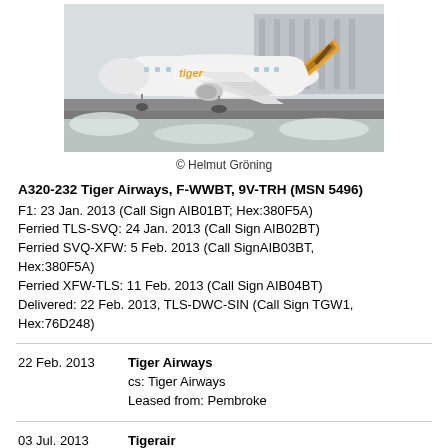[Figure (photo): Tiger Airways Airbus A320-232 aircraft on runway, white livery with tiger branding, snowy surroundings]
© Helmut Gröning
A320-232 Tiger Airways, F-WWBT, 9V-TRH (MSN 5496)
F1: 23 Jan. 2013 (Call Sign AIB01BT; Hex:380F5A)
Ferried TLS-SVQ: 24 Jan. 2013 (Call Sign AIB02BT)
Ferried SVQ-XFW: 5 Feb. 2013 (Call SignAIB03BT, Hex:380F5A)
Ferried XFW-TLS: 11 Feb. 2013 (Call Sign AIB04BT)
Delivered: 22 Feb. 2013, TLS-DWC-SIN (Call Sign TGW1, Hex:76D248)
| Date | Operator/Details |
| --- | --- |
| 22 Feb. 2013 | Tiger Airways
cs: Tiger Airways
Leased from: Pembroke |
| 03 Jul. 2013 | Tigerair |